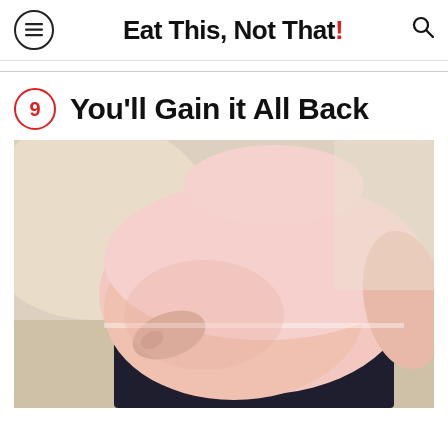Eat This, Not That!
9  You'll Gain it All Back
[Figure (photo): A person with a large belly wearing a pink shirt and dark pants, pulling on a belt.]